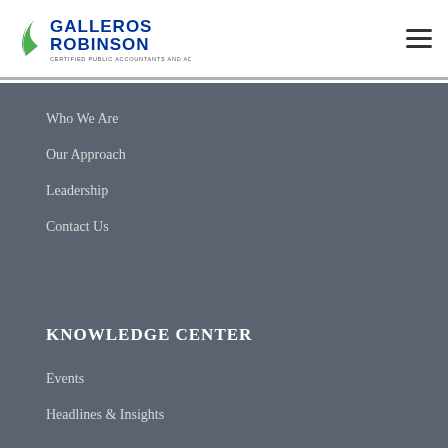[Figure (logo): Galleros Robinson Certified Public Accountants and Advisors logo with green swoosh and blue bold text]
Who We Are
Our Approach
Leadership
Contact Us
KNOWLEDGE CENTER
Events
Headlines & Insights